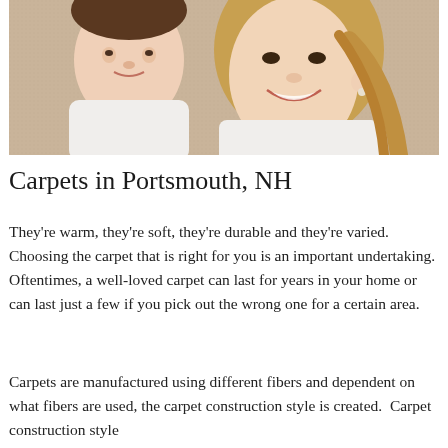[Figure (photo): A woman smiling with a child hanging upside down beside her, both wearing white, posed against a beige/tan carpet background.]
Carpets in Portsmouth, NH
They're warm, they're soft, they're durable and they're varied. Choosing the carpet that is right for you is an important undertaking. Oftentimes, a well-loved carpet can last for years in your home or can last just a few if you pick out the wrong one for a certain area.
Carpets are manufactured using different fibers and dependent on what fibers are used, the carpet construction style is created.  Carpet construction style